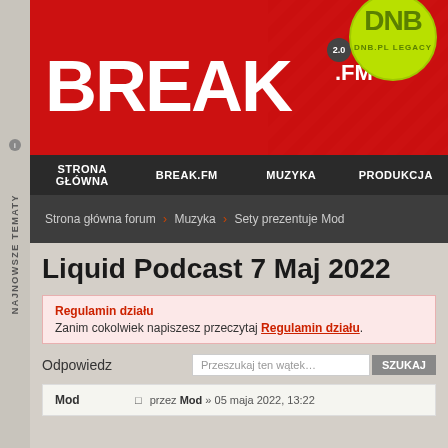[Figure (logo): BREAK.FM 2.0 logo on red banner with diagonal stripe design and DNB.PL LEGACY green circle badge]
STRONA GŁÓWNA | BREAK.FM | MUZYKA | PRODUKCJA
Strona główna forum › Muzyka › Sety prezentuje Mod
Liquid Podcast 7 Maj 2022
Regulamin działu
Zanim cokolwiek napiszesz przeczytaj Regulamin działu.
Odpowiedz
Mod	przez Mod » 05 maja 2022, 13:22